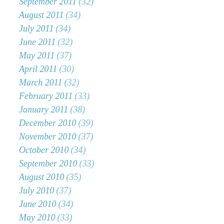September 2011 (32)
August 2011 (34)
July 2011 (34)
June 2011 (32)
May 2011 (37)
April 2011 (30)
March 2011 (32)
February 2011 (33)
January 2011 (38)
December 2010 (39)
November 2010 (37)
October 2010 (34)
September 2010 (33)
August 2010 (35)
July 2010 (37)
June 2010 (34)
May 2010 (33)
April 2010 (30)
March 2010 (33)
February 2010 (31)